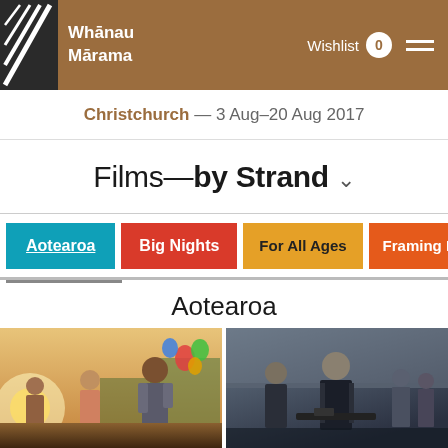Whānau Mārama — Wishlist 0
Christchurch — 3 Aug–20 Aug 2017
Films—by Strand ˅
Aotearoa
Big Nights
For All Ages
Framing R
Aotearoa
[Figure (photo): Two film stills side by side: left shows group of people at outdoor festival in warm sunlight, right shows young man with weapon in dark tactical gear surrounded by others in moody lighting]